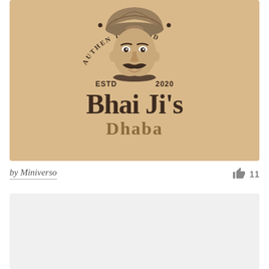[Figure (logo): Bhai Ji's Dhaba logo on tan/beige background. Shows a man wearing a turban, text 'ESTD 2020', circular text reading 'AUTHENTIC FOOD', and large text 'Bhai Ji's Dhaba'.]
by Miniverso
11
[Figure (other): Light gray placeholder card at the bottom of the page.]